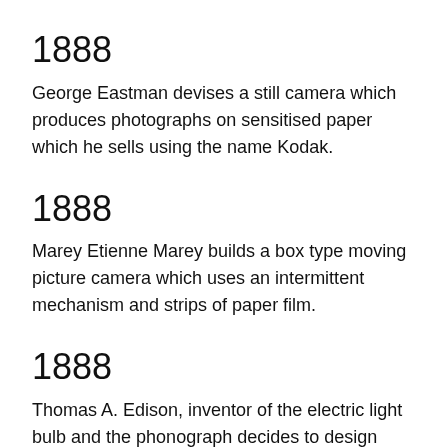1888
George Eastman devises a still camera which produces photographs on sensitised paper which he sells using the name Kodak.
1888
Marey Etienne Marey builds a box type moving picture camera which uses an intermittent mechanism and strips of paper film.
1888
Thomas A. Edison, inventor of the electric light bulb and the phonograph decides to design machines for making and showing moving pictures. With his assistant W.K.L Dickson (who did most of the work), Edison began experimenting with adapting the phonograph and tried